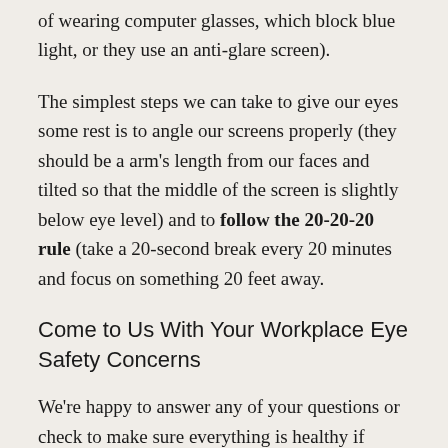of wearing computer glasses, which block blue light, or they use an anti-glare screen).
The simplest steps we can take to give our eyes some rest is to angle our screens properly (they should be a arm’s length from our faces and tilted so that the middle of the screen is slightly below eye level) and to follow the 20-20-20 rule (take a 20-second break every 20 minutes and focus on something 20 feet away.
Come to Us With Your Workplace Eye Safety Concerns
We’re happy to answer any of your questions or check to make sure everything is healthy if you’re concerned about the risk of eye injury or strain in your workplace. We want to give our patients all the information they need to protect their eyes effectively. We’d also love to see you if it’s been a